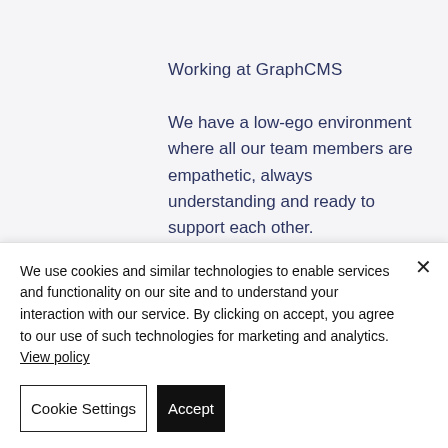Working at GraphCMS
We have a low-ego environment where all our team members are empathetic, always understanding and ready to support each other.
Our team members are super passionate about our product and self
We use cookies and similar technologies to enable services and functionality on our site and to understand your interaction with our service. By clicking on accept, you agree to our use of such technologies for marketing and analytics. View policy
Cookie Settings
Accept